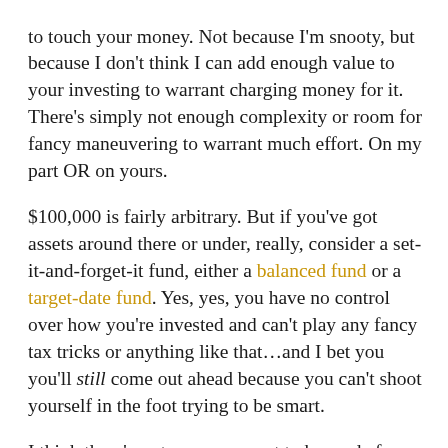to touch your money. Not because I'm snooty, but because I don't think I can add enough value to your investing to warrant charging money for it. There's simply not enough complexity or room for fancy maneuvering to warrant much effort. On my part OR on yours.
$100,000 is fairly arbitrary. But if you've got assets around there or under, really, consider a set-it-and-forget-it fund, either a balanced fund or a target-date fund. Yes, yes, you have no control over how you're invested and can't play any fancy tax tricks or anything like that…and I bet you you'll still come out ahead because you can't shoot yourself in the foot trying to be smart.
I think there's a strong argument to be made for maintaining this extremely simple approach to investing for pretty much ever. The financial blogger Oblivious Investor in fact has all his